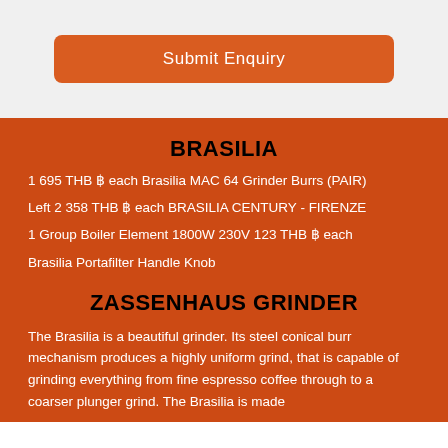Submit Enquiry
BRASILIA
1 695 THB ฿ each Brasilia MAC 64 Grinder Burrs (PAIR)
Left 2 358 THB ฿ each BRASILIA CENTURY - FIRENZE
1 Group Boiler Element 1800W 230V 123 THB ฿ each
Brasilia Portafilter Handle Knob
ZASSENHAUS GRINDER
The Brasilia is a beautiful grinder. Its steel conical burr mechanism produces a highly uniform grind, that is capable of grinding everything from fine espresso coffee through to a coarser plunger grind. The Brasilia is made